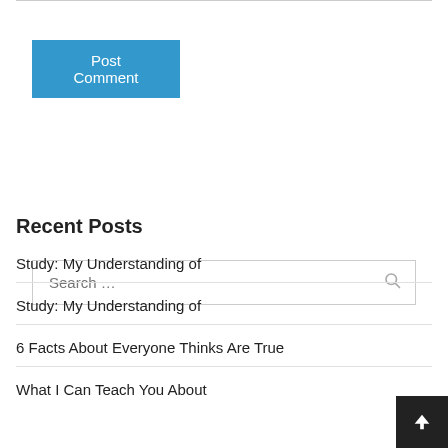Post Comment
Search …
Recent Posts
Study: My Understanding of
Study: My Understanding of
6 Facts About Everyone Thinks Are True
What I Can Teach You About